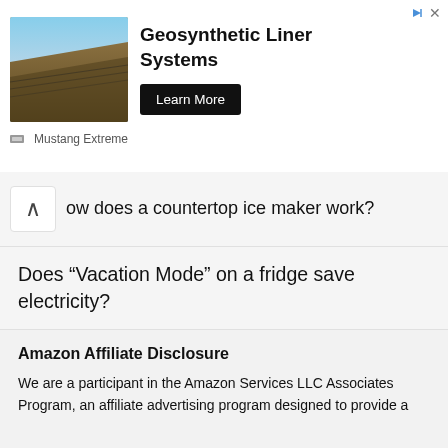[Figure (infographic): Advertisement banner for Geosynthetic Liner Systems by Mustang Extreme. Shows a photo of a lined terrain/slope, bold title text, a Learn More button, and a Mustang Extreme sponsor line.]
ow does a countertop ice maker work?
Does “Vacation Mode” on a fridge save electricity?
Amazon Affiliate Disclosure
We are a participant in the Amazon Services LLC Associates Program, an affiliate advertising program designed to provide a